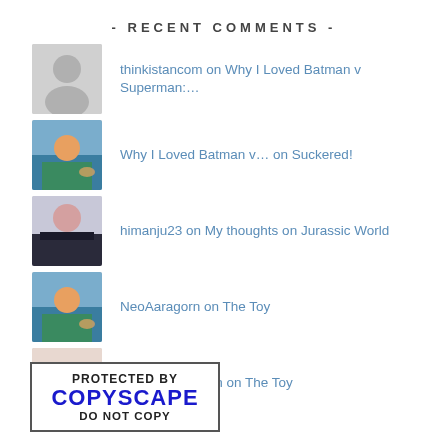- RECENT COMMENTS -
thinkistancom on Why I Loved Batman v Superman:…
Why I Loved Batman v… on Suckered!
himanju23 on My thoughts on Jurassic World
NeoAaragorn on The Toy
Garima Chauhan on The Toy
[Figure (logo): Copyscape protected badge with text PROTECTED BY COPYSCAPE DO NOT COPY]